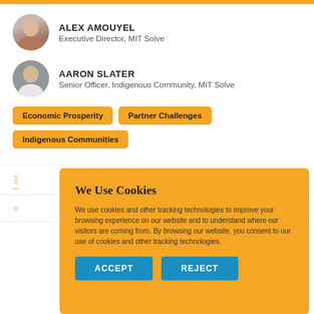[Figure (photo): Circular avatar photo of Alex Amouyel]
ALEX AMOUYEL
Executive Director, MIT Solve
[Figure (photo): Circular avatar photo of Aaron Slater]
AARON SLATER
Senior Officer, Indigenous Community, MIT Solve
Economic Prosperity
Partner Challenges
Indigenous Communities
We Use Cookies
We use cookies and other tracking technologies to improve your browsing experience on our website and to understand where our visitors are coming from. By browsing our website, you consent to our use of cookies and other tracking technologies.
ACCEPT
REJECT